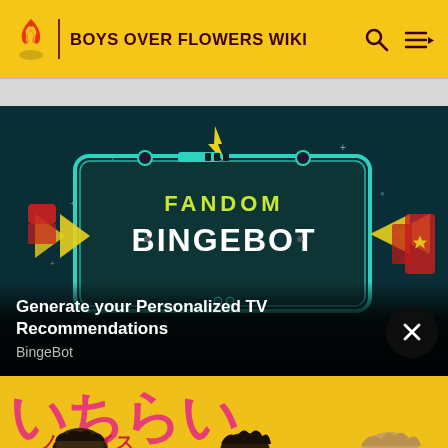BOYS OVER FLOWERS WIKI
[Figure (screenshot): Fandom BingeBot advertisement banner with teal robot/machine frame graphic, yellow lightning bolt, and text 'FANDOM BINGEBOT' on dark background]
Generate your Personalized TV Recommendations
BingeBot
[Figure (illustration): Bottom portion of Boys Over Flowers manga/anime promotional image with Japanese text in yellow and pink on yellow background, with character heads visible at bottom]